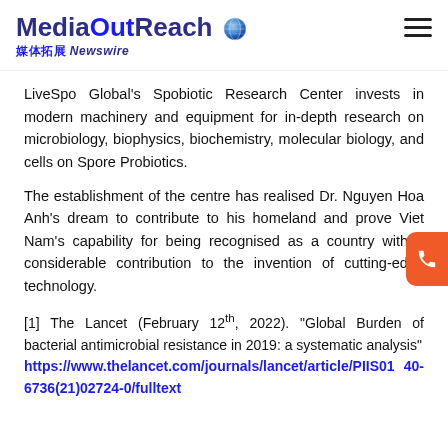MediaOutReach 媒体拓展 Newswire
LiveSpo Global's Spobiotic Research Center invests in modern machinery and equipment for in-depth research on microbiology, biophysics, biochemistry, molecular biology, and cells on Spore Probiotics.
The establishment of the centre has realised Dr. Nguyen Hoa Anh's dream to contribute to his homeland and prove Viet Nam's capability for being recognised as a country with a considerable contribution to the invention of cutting-edge technology.
[1] The Lancet (February 12th, 2022). "Global Burden of bacterial antimicrobial resistance in 2019: a systematic analysis" https://www.thelancet.com/journals/lancet/article/PIIS0140-6736(21)02724-0/fulltext